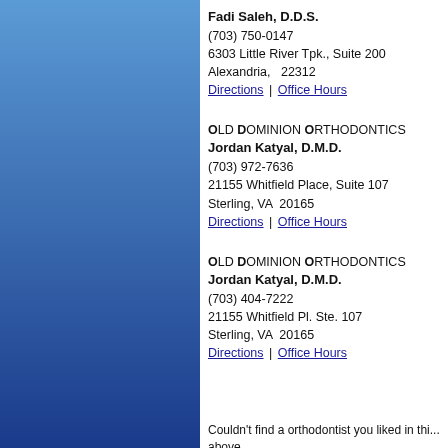[Figure (other): Blue gradient sidebar on left side of page]
Fadi Saleh, D.D.S.
(703) 750-0147
6303 Little River Tpk., Suite 200
Alexandria, 22312
Directions | Office Hours
Old Dominion Orthodontics
Jordan Katyal, D.M.D.
(703) 972-7636
21155 Whitfield Place, Suite 107
Sterling, VA 20165
Directions | Office Hours
Old Dominion Orthodontics
Jordan Katyal, D.M.D.
(703) 404-7222
21155 Whitfield Pl. Ste. 107
Sterling, VA 20165
Directions | Office Hours
Couldn't find a orthodontist you liked in this area? Try one of the cities above.
Alpine, VA (1)
Ampthill, VA (1)
Bellevue, VA (1)
Brookside, VA (1)